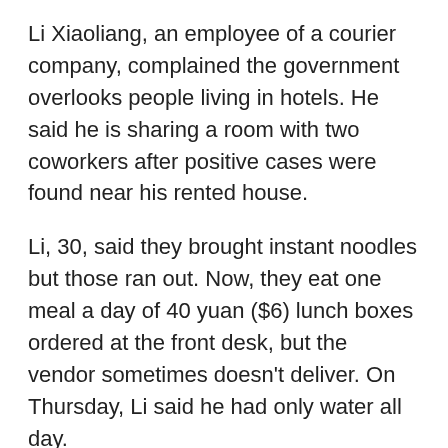Li Xiaoliang, an employee of a courier company, complained the government overlooks people living in hotels. He said he is sharing a room with two coworkers after positive cases were found near his rented house.
Li, 30, said they brought instant noodles but those ran out. Now, they eat one meal a day of 40 yuan ($6) lunch boxes ordered at the front desk, but the vendor sometimes doesn't deliver. On Thursday, Li said he had only water all day.
The local government office "clearly said that they didn't care about those staying in the hotel and left us to find our own way," Li said. "What we need most now is supplies, food."
After residents of a Shanghai apartment complex stood on their balconies to sing this week in a possible protest, a drone flew overhead and broadcast the message: "Control